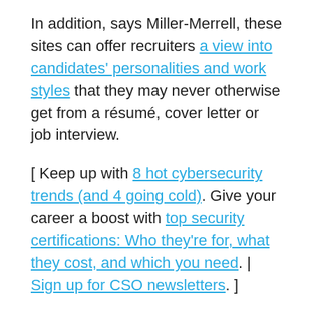In addition, says Miller-Merrell, these sites can offer recruiters a view into candidates' personalities and work styles that they may never otherwise get from a résumé, cover letter or job interview.
[ Keep up with 8 hot cybersecurity trends (and 4 going cold). Give your career a boost with top security certifications: Who they're for, what they cost, and which you need. | Sign up for CSO newsletters. ]
Miller-Merrell began using the Web to find candidates for retail jobs in 2001 while working as an HR manager at Target. "I went to dating websites, local, city chat rooms and community forums to source candidates," she says.